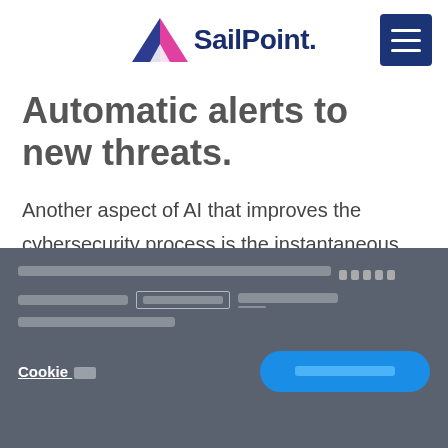SailPoint
Automatic alerts to new threats.
Another aspect of AI that improves the cybersecurity process is the instantaneous nature of finding and reporting a threat. Simply put, AI technology does not need to go through